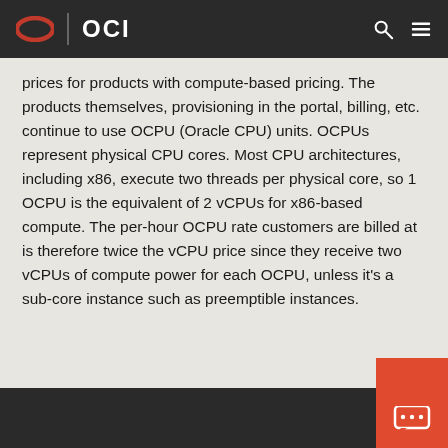OCI
prices for products with compute-based pricing. The products themselves, provisioning in the portal, billing, etc. continue to use OCPU (Oracle CPU) units. OCPUs represent physical CPU cores. Most CPU architectures, including x86, execute two threads per physical core, so 1 OCPU is the equivalent of 2 vCPUs for x86-based compute. The per-hour OCPU rate customers are billed at is therefore twice the vCPU price since they receive two vCPUs of compute power for each OCPU, unless it's a sub-core instance such as preemptible instances.